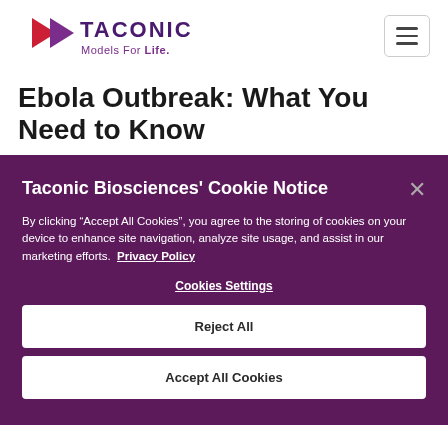[Figure (logo): Taconic Biosciences logo — purple play-button arrow icon with 'TACONIC' text and 'Models For Life.' tagline in purple]
Ebola Outbreak: What You Need to Know
Taconic Biosciences' Cookie Notice
By clicking “Accept All Cookies”, you agree to the storing of cookies on your device to enhance site navigation, analyze site usage, and assist in our marketing efforts. Privacy Policy
Cookies Settings
Reject All
Accept All Cookies